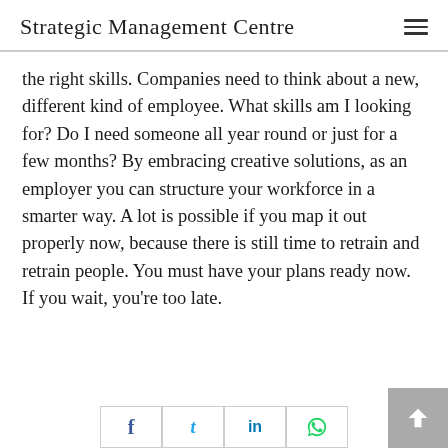Strategic Management Centre
the right skills. Companies need to think about a new, different kind of employee. What skills am I looking for? Do I need someone all year round or just for a few months? By embracing creative solutions, as an employer you can structure your workforce in a smarter way. A lot is possible if you map it out properly now, because there is still time to retrain and retrain people. You must have your plans ready now. If you wait, you're too late.